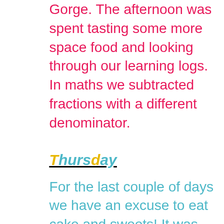Gorge. The afternoon was spent tasting some more space food and looking through our learning logs. In maths we subtracted fractions with a different denominator.
Thursday
For the last couple of days we have an excuse to eat cake and sweets! It was for our learning log it was the best. We performed a space dance in front of Bishopdale and they said it was great. We marked our literacy books to see if we could improve our work.